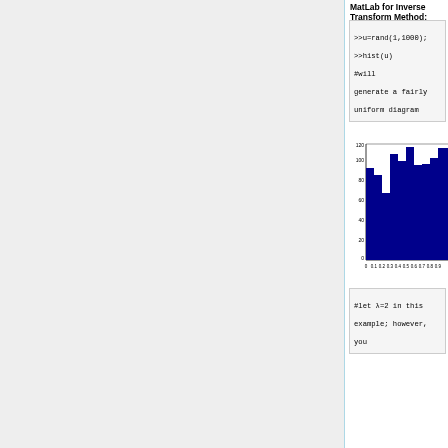MatLab for Inverse Transform Method:
>>u=rand(1,1000);
>>hist(u)        #will generate a fairly uniform diagram
[Figure (histogram): ]
#let λ=2 in this example; however, you